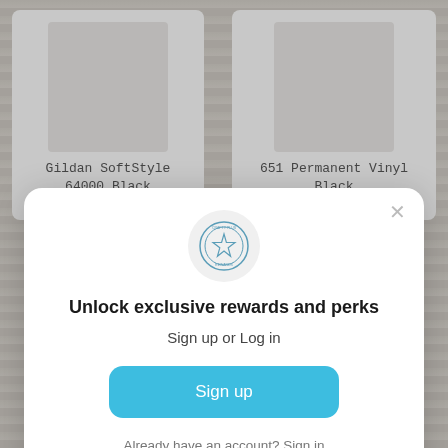[Figure (screenshot): E-commerce product listing background showing two product cards: 'Gildan SoftStyle 64000 Black' from $5.75 and '651 Permanent Vinyl Black' from $0.90, partially visible behind a modal overlay]
[Figure (logo): Circular stamp/seal logo for the rewards program]
Unlock exclusive rewards and perks
Sign up or Log in
Sign up
Already have an account? Sign in